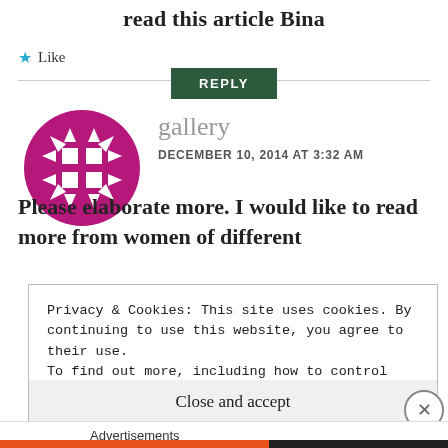read this article Bina
★ Like
REPLY
[Figure (logo): Purple decorative geometric avatar icon for user 'gallery']
gallery
DECEMBER 10, 2014 AT 3:32 AM
Please elaborate more. I would like to read more from women of different
Privacy & Cookies: This site uses cookies. By continuing to use this website, you agree to their use.
To find out more, including how to control cookies, see here: Cookie Policy
Close and accept
Advertisements